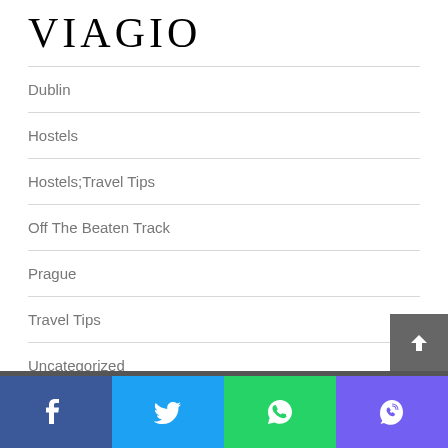VIAGIO
Dublin
Hostels
Hostels;Travel Tips
Off The Beaten Track
Prague
Travel Tips
Uncategorized
RECENT POSTS
Facebook | Twitter | WhatsApp | Viber